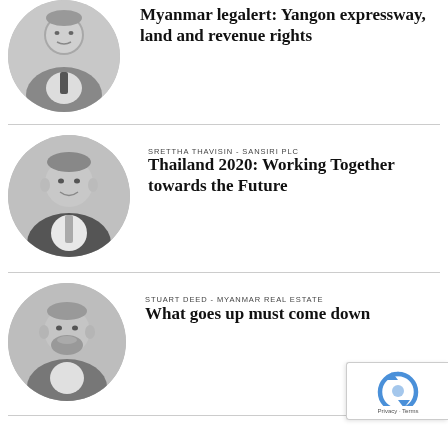[Figure (photo): Black and white circular portrait photo of a man in a suit, partially visible at top]
Myanmar legalert: Yangon expressway, land and revenue rights
[Figure (photo): Black and white circular portrait photo of Srettha Thavisin, Asian man in a suit smiling]
SRETTHA THAVISIN - SANSIRI PLC
Thailand 2020: Working Together towards the Future
[Figure (photo): Black and white circular portrait photo of Stuart Deed, bearded Western man]
STUART DEED - MYANMAR REAL ESTATE
What goes up must come down